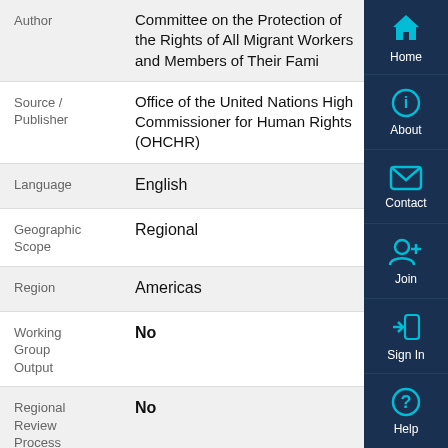| Field | Value |
| --- | --- |
| Author | Committee on the Protection of the Rights of All Migrant Workers and Members of Their Fami... |
| Source / Publisher | Office of the United Nations High Commissioner for Human Rights (OHCHR) |
| Language | English |
| Geographic Scope | Regional |
| Region | Americas |
| Working Group Output | No |
| Regional Review Process | No |